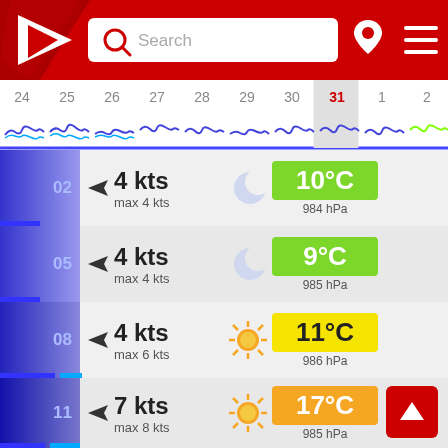[Figure (screenshot): Mobile weather app header with red background, triangular logo, search bar, location pin icon, and hamburger menu]
[Figure (infographic): Calendar date strip showing dates 24-2 with wave/wind chart below, date 31 highlighted in red as current day]
02  4 kts  max 4 kts  10°C  984 hPa
05  4 kts  max 4 kts  9°C  985 hPa
08  4 kts  max 6 kts  11°C  986 hPa
11  7 kts  max 8 kts  17°C  985 hPa
14  8 kts  max 8 kts  22°C  984 hPa